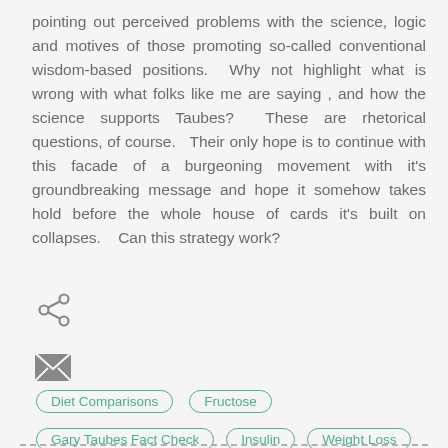pointing out perceived problems with the science, logic and motives of those promoting so-called conventional wisdom-based positions.  Why not highlight what is wrong with what folks like me are saying , and how the science supports Taubes?  These are rhetorical questions, of course.  Their only hope is to continue with this facade of a burgeoning movement with it's groundbreaking message and hope it somehow takes hold before the whole house of cards it's built on collapses.   Can this strategy work?
[Figure (other): Share icon (less-than symbol style)]
[Figure (other): Email/envelope icon]
Diet Comparisons
Fructose
Gary Taubes Fact Check
Insulin
Weight Loss